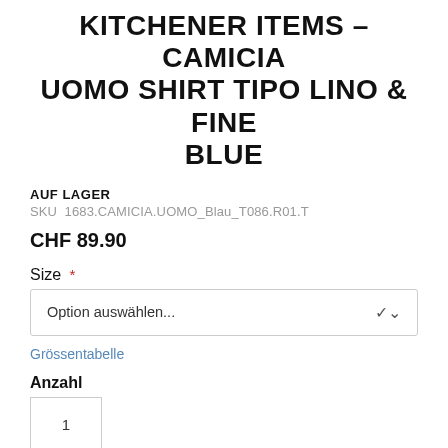KITCHENER ITEMS – CAMICIA UOMO SHIRT TIPO LINO & FINE BLUE
AUF LAGER
SKU  1683.CAMICIA.UOMO_Blau_T086.R01.T
CHF 89.90
Size *
Option auswählen...
Grössentabelle
Anzahl
1